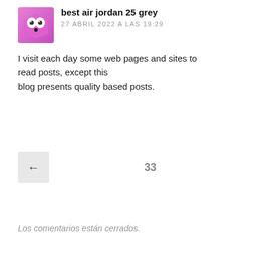[Figure (illustration): Avatar image: pink/purple cartoon character on gradient pink background, small square with rounded corners]
best air jordan 25 grey
27 ABRIL 2022 A LAS 19:29
I visit each day some web pages and sites to read posts, except this blog presents quality based posts.
← 33
Los comentarios están cerrados.